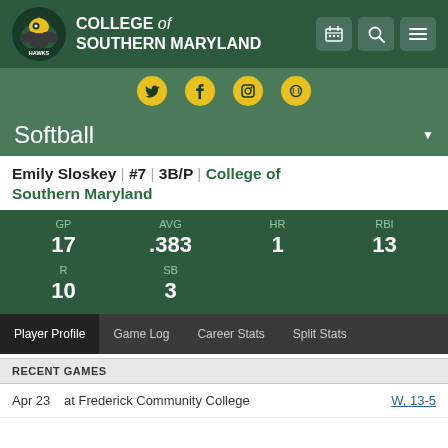[Figure (logo): College of Southern Maryland Hawks logo with eagle and header navigation bar showing calendar, search, and menu icons]
[Figure (infographic): Social media icon bar with Twitter, Facebook, Instagram, and another icon on green background]
Softball
Emily Sloskey | #7 | 3B/P | College of Southern Maryland
| GP | AVG | HR | RBI |
| --- | --- | --- | --- |
| 17 | .383 | 1 | 13 |
| R | SB |
| --- | --- |
| 10 | 3 |
Player Profile | Game Log | Career Stats | Split Stats
RECENT GAMES
Apr 23    at Frederick Community College    W, 13-5